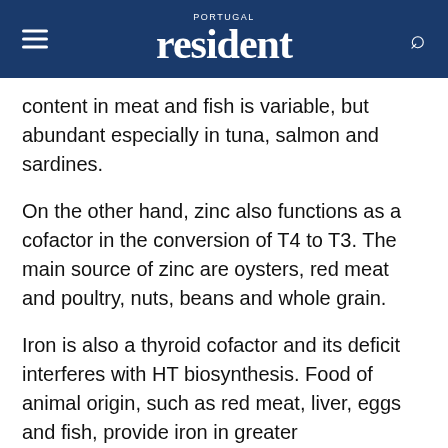PORTUGAL resident
content in meat and fish is variable, but abundant especially in tuna, salmon and sardines.
On the other hand, zinc also functions as a cofactor in the conversion of T4 to T3. The main source of zinc are oysters, red meat and poultry, nuts, beans and whole grain.
Iron is also a thyroid cofactor and its deficit interferes with HT biosynthesis. Food of animal origin, such as red meat, liver, eggs and fish, provide iron in greater bioavailability.
Finally, vitamin A is essential in the synthesis of thyroglobulin and in the absorption of iodine by the thyroid. It is found in cod liver oil, eggs, liver, milk and